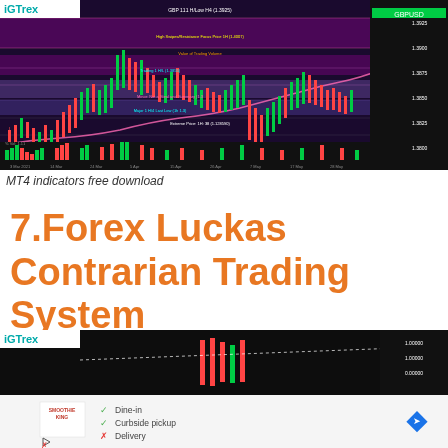[Figure (screenshot): MT4 forex trading chart showing GBP/USD price action with candlesticks, multiple timeframe trend indicators (M1 Down, M5 Up, M15 Down, M30 Down, H1 Up, H4 Down, D1 Down, W1 Down, MN1 Up), resistance/support zones in pink/purple shading, and a momentum oscillator at the bottom. Chart branded with iGTrex logo.]
MT4 indicators free download
7.Forex Luckas Contrarian Trading System
[Figure (screenshot): Partial MT4 forex trading chart with dark background showing price candlesticks and a dotted trend line, iGTrex logo visible in top-left corner. Below it is a Google Maps-style ad showing Smoothie King options: checkmark Dine-in, checkmark Curbside pickup, X Delivery.]